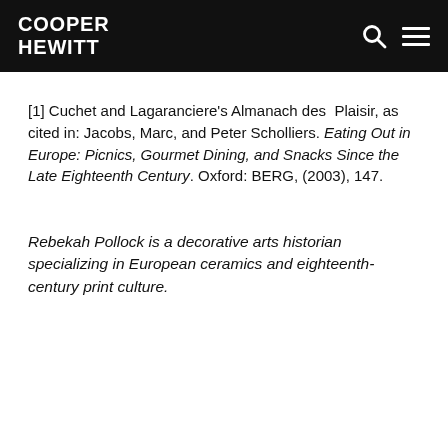COOPER HEWITT
[1] Cuchet and Lagaranciere's Almanach des Plaisir, as cited in: Jacobs, Marc, and Peter Scholliers. Eating Out in Europe: Picnics, Gourmet Dining, and Snacks Since the Late Eighteenth Century. Oxford: BERG, (2003), 147.
Rebekah Pollock is a decorative arts historian specializing in European ceramics and eighteenth-century print culture.